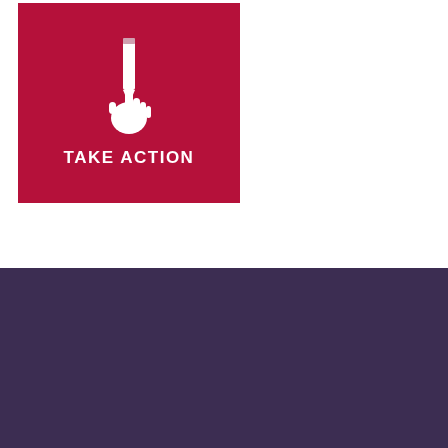[Figure (illustration): Red square with white icon of a hand holding a pencil, with text TAKE ACTION below the icon]
WHO ARE WE?
IMPACTS
INTERNATIONAL FEDERATION FOR HUMAN RIGHTS
REGIONS